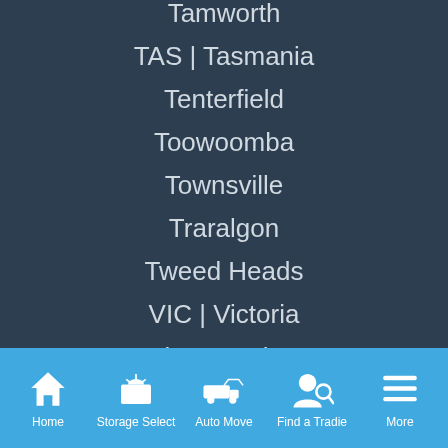Tamworth
TAS | Tasmania
Tenterfield
Toowoomba
Townsville
Traralgon
Tweed Heads
VIC | Victoria
Victor Harbor
WA
Home | Storage Select | Auto Move | Find a Tradie | More